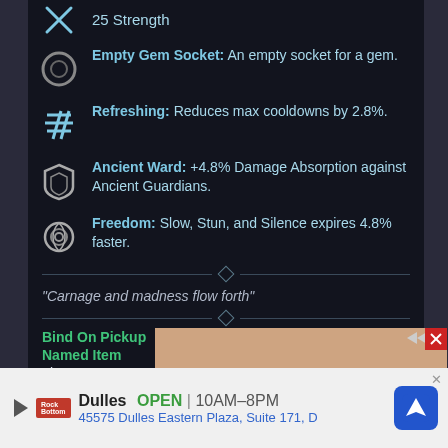25 Strength
Empty Gem Socket: An empty socket for a gem.
Refreshing: Reduces max cooldowns by 2.8%.
Ancient Ward: +4.8% Damage Absorption against Ancient Guardians.
Freedom: Slow, Stun, and Silence expires 4.8% faster.
"Carnage and madness flow forth"
Bind On Pickup
Named Item
Tier V
11.0 Weight
750 Durability
[Figure (screenshot): Advertisement banner for Rock Bottom store at Dulles, showing address 45575 Dulles Eastern Plaza, Suite 171, D with navigation icon]